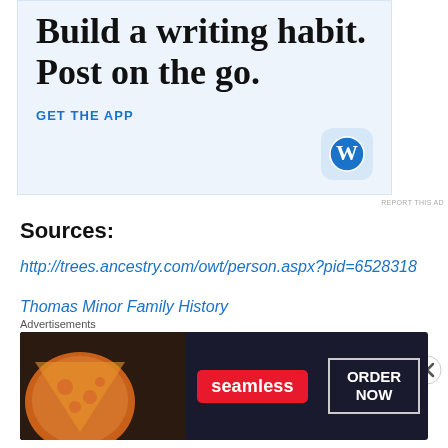[Figure (infographic): WordPress app advertisement banner with text 'Build a writing habit. Post on the go.' and a GET THE APP call-to-action button with the WordPress logo icon.]
REPORT THIS AD
Sources:
http://trees.ancestry.com/owt/person.aspx?pid=6528318
Thomas Minor Family History
Thomas Minor Society
Advertisements
[Figure (infographic): Seamless food delivery advertisement banner showing pizza image with Seamless logo and ORDER NOW button.]